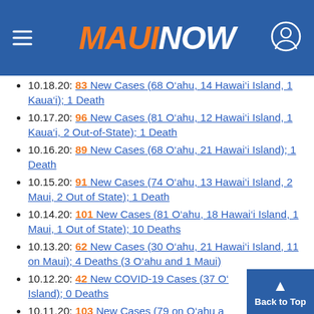MAUI NOW
10.18.20: 83 New Cases (68 O’ahu, 14 Hawaiʻi Island, 1 Kauaʻi); 1 Death
10.17.20: 96 New Cases (81 O’ahu, 12 Hawaiʻi Island, 1 Kauaʻi, 2 Out-of-State); 1 Death
10.16.20: 89 New Cases (68 O’ahu, 21 Hawaiʻi Island); 1 Death
10.15.20: 91 New Cases (74 O’ahu, 13 Hawaiʻi Island, 2 Maui, 2 Out of State); 1 Death
10.14.20: 101 New Cases (81 O’ahu, 18 Hawaiʻi Island, 1 Maui, 1 Out of State); 10 Deaths
10.13.20: 62 New Cases (30 O’ahu, 21 Hawaiʻi Island, 11 on Maui); 4 Deaths (3 O’ahu and 1 Maui)
10.12.20: 42 New COVID-19 Cases (37 O’ahu, 5 Hawaiʻi Island); 0 Deaths
10.11.20: 103 New Cases (79 on O’ahu...